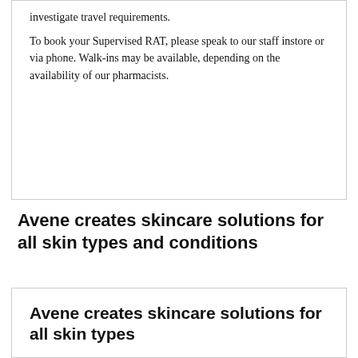investigate travel requirements.
To book your Supervised RAT, please speak to our staff instore or via phone. Walk-ins may be available, depending on the availability of our pharmacists.
Avene creates skincare solutions for all skin types and conditions
Avene creates skincare solutions for all skin types